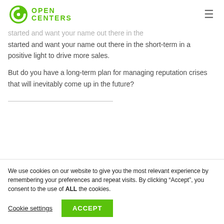[Figure (logo): Open Centers logo: green circular icon with a C shape and dot, next to green bold text reading OPEN CENTERS]
started and want your name out there in the short-term in a positive light to drive more sales.
But do you have a long-term plan for managing reputation crises that will inevitably come up in the future?
We use cookies on our website to give you the most relevant experience by remembering your preferences and repeat visits. By clicking “Accept”, you consent to the use of ALL the cookies.